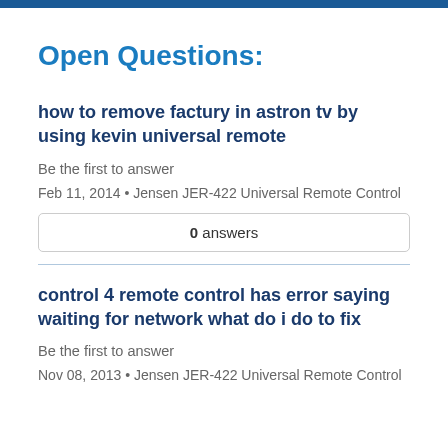Open Questions:
how to remove factury in astron tv by using kevin universal remote
Be the first to answer
Feb 11, 2014 • Jensen JER-422 Universal Remote Control
0 answers
control 4 remote control has error saying waiting for network what do i do to fix
Be the first to answer
Nov 08, 2013 • Jensen JER-422 Universal Remote Control